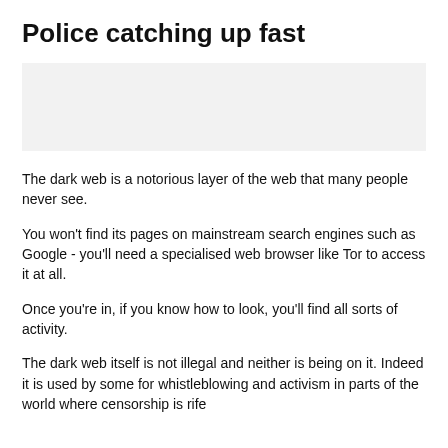Police catching up fast
[Figure (photo): Light grey placeholder image block]
The dark web is a notorious layer of the web that many people never see.
You won't find its pages on mainstream search engines such as Google - you'll need a specialised web browser like Tor to access it at all.
Once you're in, if you know how to look, you'll find all sorts of activity.
The dark web itself is not illegal and neither is being on it. Indeed it is used by some for whistleblowing and activism in parts of the world where censorship is rife